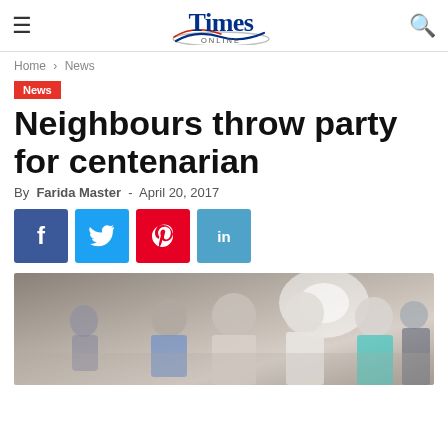Times ONLINE
Home › News
News
Neighbours throw party for centenarian
By Farida Master - April 20, 2017
[Figure (other): Social share buttons: Facebook, Twitter, Pinterest, LinkedIn]
[Figure (photo): Group of elderly people at a party gathering indoors]